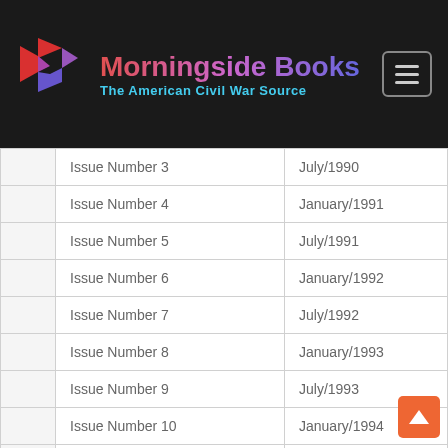Morningside Books – The American Civil War Source
|  | Issue | Date |
| --- | --- | --- |
|  | Issue Number 3 | July/1990 |
|  | Issue Number 4 | January/1991 |
|  | Issue Number 5 | July/1991 |
|  | Issue Number 6 | January/1992 |
|  | Issue Number 7 | July/1992 |
|  | Issue Number 8 | January/1993 |
|  | Issue Number 9 | July/1993 |
|  | Issue Number 10 | January/1994 |
|  | Issue Number 11 | July/1994 |